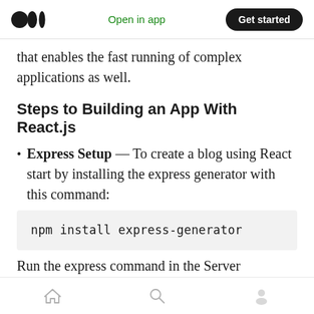Open in app | Get started
that enables the fast running of complex applications as well.
Steps to Building an App With React.js
Express Setup — To create a blog using React start by installing the express generator with this command:
Run the express command in the Server
[home] [search] [profile]